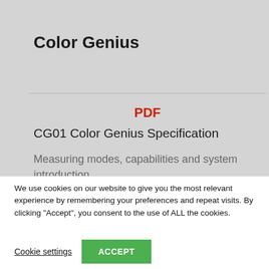Color Genius
PDF
CG01 Color Genius Specification
Measuring modes, capabilities and system introduction
►English
We use cookies on our website to give you the most relevant experience by remembering your preferences and repeat visits. By clicking “Accept”, you consent to the use of ALL the cookies.
Cookie settings
ACCEPT